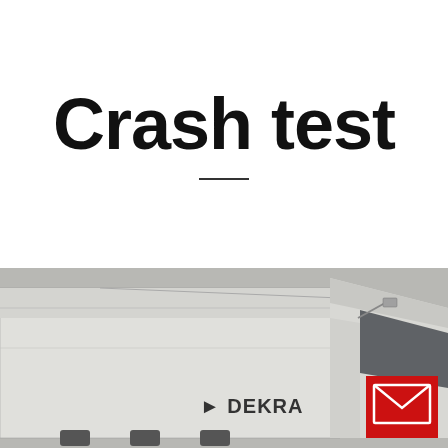Crash test
[Figure (photo): Aerial/angled view of a large white DEKRA-branded truck/semi-trailer, seen from above and slightly to the right. The truck cab is visible on the right side with a red envelope/mail icon button overlay in the bottom-right corner.]